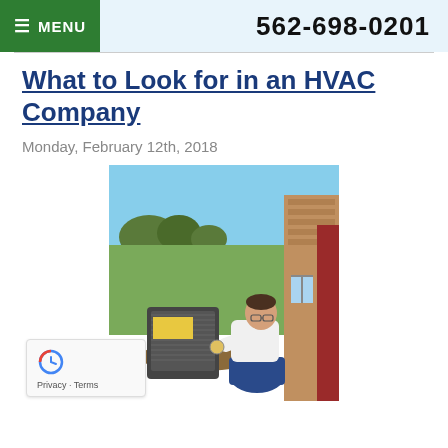≡ MENU   562-698-0201
What to Look for in an HVAC Company
Monday, February 12th, 2018
[Figure (photo): HVAC technician crouching beside an outdoor air conditioning unit next to a house, inspecting it with gauges. Green lawn and trees visible in background.]
Privacy · Terms